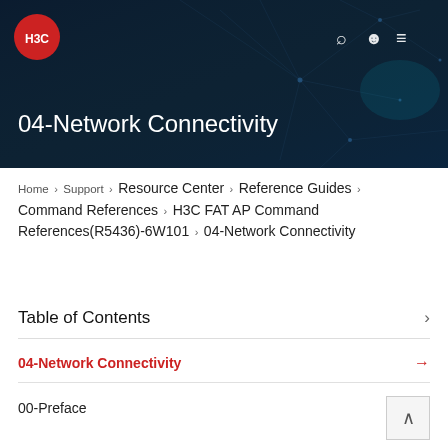[Figure (screenshot): H3C website header banner with dark blue network background, H3C logo (red circle), navigation icons (search, user, menu), and page title '04-Network Connectivity' in white text]
Home › Support › Resource Center › Reference Guides › Command References › H3C FAT AP Command References(R5436)-6W101 › 04-Network Connectivity
Table of Contents
04-Network Connectivity
00-Preface